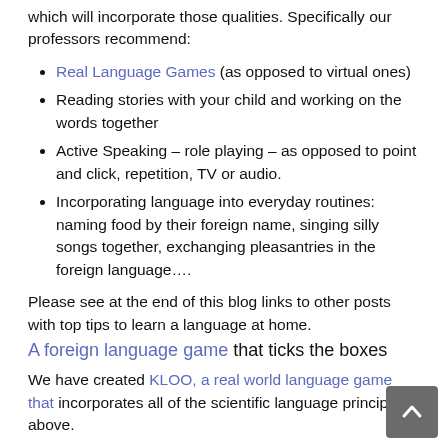which will incorporate those qualities. Specifically our professors recommend:
Real Language Games (as opposed to virtual ones)
Reading stories with your child and working on the words together
Active Speaking – role playing – as opposed to point and click, repetition, TV or audio.
Incorporating language into everyday routines: naming food by their foreign name, singing silly songs together, exchanging pleasantries in the foreign language….
Please see at the end of this blog links to other posts with top tips to learn a language at home.
A foreign language game that ticks the boxes
We have created KLOO, a real world language game that incorporates all of the scientific language principles above.